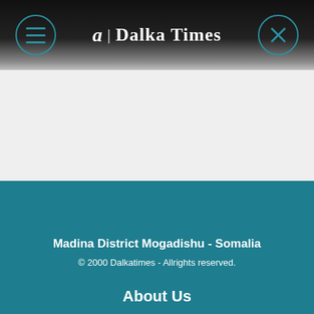Dalka Times
Madina District Mogadishu - Somalia
© 2000 Dalkatimes - Allrights reserved.
About Us